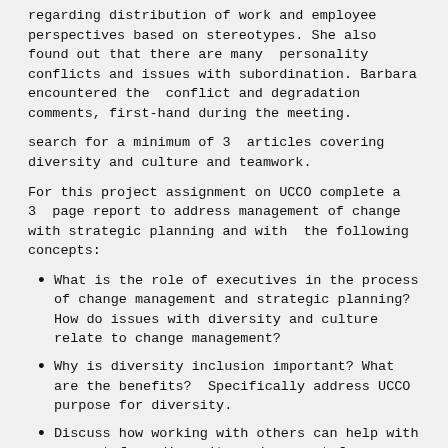regarding distribution of work and employee perspectives based on stereotypes. She also found out that there are many personality conflicts and issues with subordination. Barbara encountered the conflict and degradation comments, first-hand during the meeting.
search for a minimum of 3 articles covering diversity and culture and teamwork.
For this project assignment on UCCO complete a 3 page report to address management of change with strategic planning and with the following concepts:
What is the role of executives in the process of change management and strategic planning? How do issues with diversity and culture relate to change management?
Why is diversity inclusion important? What are the benefits? Specifically address UCCO purpose for diversity.
Discuss how working with others can help with respect for diversity and respect for diverse perspectives.